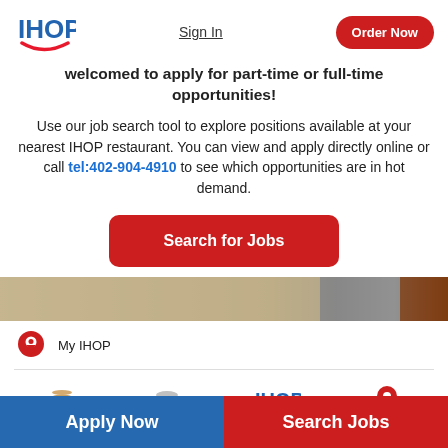[Figure (logo): IHOP logo with blue text and red smile arc]
Sign In
Order Now
welcomed to apply for part-time or full-time opportunities!
Use our job search tool to explore positions available at your nearest IHOP restaurant. You can view and apply directly online or call tel:402-904-4910 to see which opportunities are in hot demand.
Search for Jobs
[Figure (photo): Restaurant interior image strip]
My IHOP
Apply Now
Search Jobs